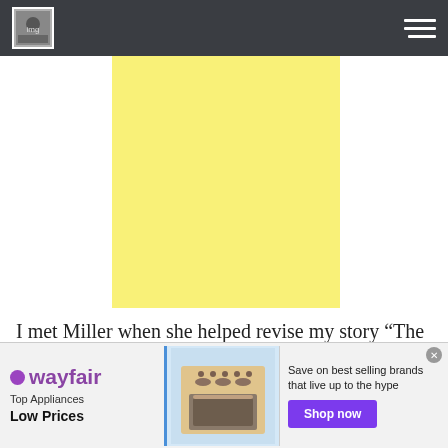[Figure (other): Yellow square advertisement block]
I met Miller when she helped revise my story “The Golden Falcon” for Coffin Blossoms. She took the time to let me know my story was “almost there”, but really didn’t like
[Figure (other): Wayfair advertisement banner: Top Appliances Low Prices, Save on best selling brands that live up to the hype, Shop now button]